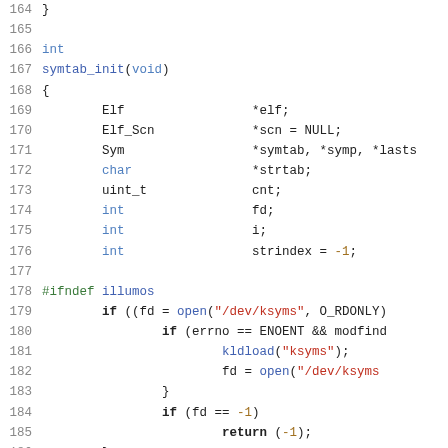Source code listing, lines 164–193, C code for symtab_init function